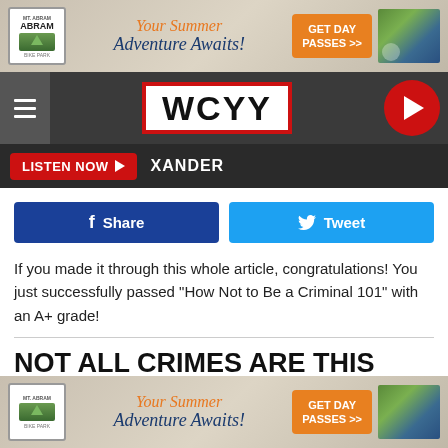[Figure (screenshot): Mt. Abram advertisement banner - Your Summer Adventure Awaits! GET DAY PASSES >>]
[Figure (logo): WCYY radio station logo with navigation bar, hamburger menu, and play button]
[Figure (screenshot): LISTEN NOW button and XANDER text on dark bar]
[Figure (screenshot): Facebook Share and Twitter Tweet social sharing buttons]
If you made it through this whole article, congratulations! You just successfully passed "How Not to Be a Criminal 101" with an A+ grade!
NOT ALL CRIMES ARE THIS SLOPPY, SO HERE ARE 15 WAYS TO AVOID FALLING VICTIM TO A CRIME OF OPPORTUNITY
[Figure (screenshot): Mt. Abram advertisement banner bottom - Your Summer Adventure Awaits! GET DAY PASSES >>]